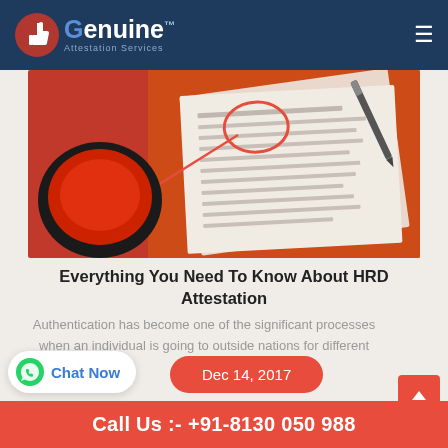Genuine Attestation Services
[Figure (photo): Photo of a red ink stamp pad with documents, a circular red highlighted area on paper, red string/rope, and a pen on an orange/red surface]
Everything You Need To Know About HRD Attestation
Authentication has become one of the significant processes when an individual is going to outside nations for different nations.
Dec 14, 2017
Call Us :- +91-8130 050 988